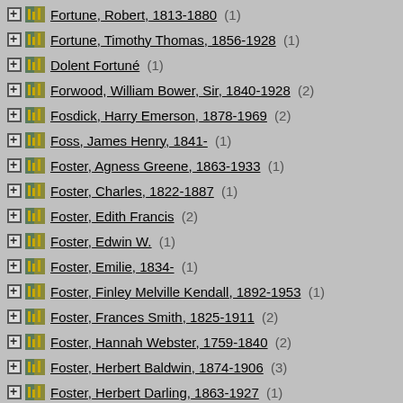Fortune, Robert, 1813-1880 (1)
Fortune, Timothy Thomas, 1856-1928 (1)
Dolent Fortuné (1)
Forwood, William Bower, Sir, 1840-1928 (2)
Fosdick, Harry Emerson, 1878-1969 (2)
Foss, James Henry, 1841- (1)
Foster, Agness Greene, 1863-1933 (1)
Foster, Charles, 1822-1887 (1)
Foster, Edith Francis (2)
Foster, Edwin W. (1)
Foster, Emilie, 1834- (1)
Foster, Finley Melville Kendall, 1892-1953 (1)
Foster, Frances Smith, 1825-1911 (2)
Foster, Hannah Webster, 1759-1840 (2)
Foster, Herbert Baldwin, 1874-1906 (3)
Foster, Herbert Darling, 1863-1927 (1)
Foster, Hubert, 1855- (1)